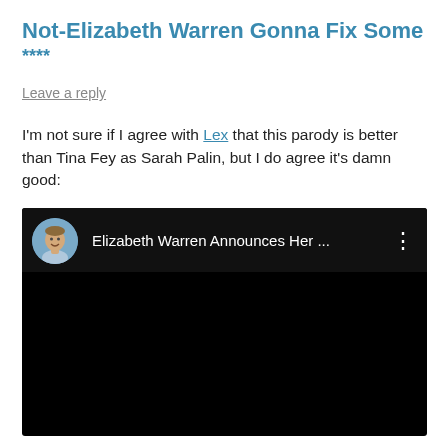Not-Elizabeth Warren Gonna Fix Some ****
Leave a reply
I'm not sure if I agree with Lex that this parody is better than Tina Fey as Sarah Palin, but I do agree it's damn good:
[Figure (screenshot): Embedded video thumbnail showing a YouTube-style video player with a man's circular avatar photo, title 'Elizabeth Warren Announces Her ...' and a three-dot menu icon, with a black video area below.]